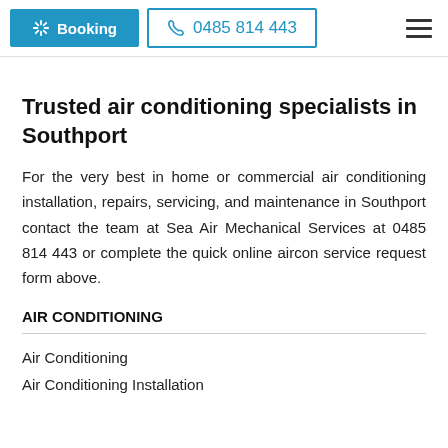Booking  0485 814 443
Trusted air conditioning specialists in Southport
For the very best in home or commercial air conditioning installation, repairs, servicing, and maintenance in Southport contact the team at Sea Air Mechanical Services at 0485 814 443 or complete the quick online aircon service request form above.
AIR CONDITIONING
Air Conditioning
Air Conditioning Installation